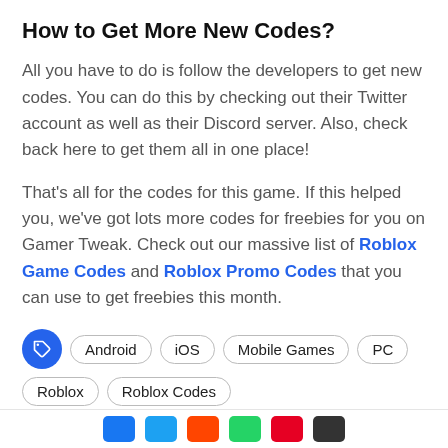How to Get More New Codes?
All you have to do is follow the developers to get new codes. You can do this by checking out their Twitter account as well as their Discord server. Also, check back here to get them all in one place!
That’s all for the codes for this game. If this helped you, we’ve got lots more codes for freebies for you on Gamer Tweak. Check out our massive list of Roblox Game Codes and Roblox Promo Codes that you can use to get freebies this month.
Android
iOS
Mobile Games
PC
Roblox
Roblox Codes